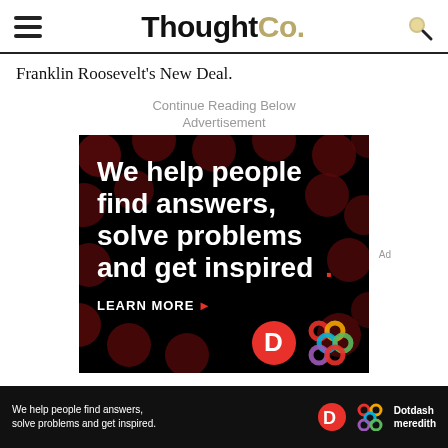ThoughtCo.
Franklin Roosevelt's New Deal.
Continue Reading Below
Advertisement
[Figure (screenshot): Dotdash Meredith advertisement: dark background with dark red polka dots, white bold text reading 'We help people find answers, solve problems and get inspired.' with a red period. Below: LEARN MORE with a right arrow, and Dotdash (D logo) and Meredith (colorful knot logo) logos.]
We help people find answers, solve problems and get inspired.
Dotdash meredith